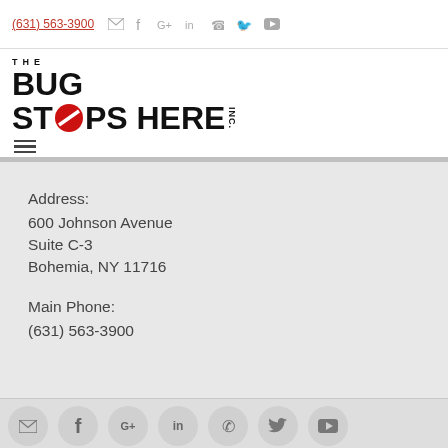(631) 563-3900
[Figure (logo): The Bug Stops Here Inc. logo with bold black text and red circle with slash through the O in STOPS]
Address:
600 Johnson Avenue
Suite C-3
Bohemia, NY 11716

Main Phone:
(631) 563-3900
Social media icon links row